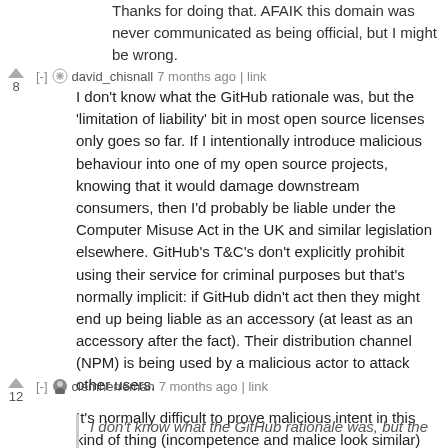Thanks for doing that. AFAIK this domain was never communicated as being official, but I might be wrong.
[-] david_chisnall 7 months ago | link
I don't know what the GitHub rationale was, but the 'limitation of liability' bit in most open source licenses only goes so far. If I intentionally introduce malicious behaviour into one of my open source projects, knowing that it would damage downstream consumers, then I'd probably be liable under the Computer Misuse Act in the UK and similar legislation elsewhere. GitHub's T&C's don't explicitly prohibit using their service for criminal purposes but that's normally implicit: if GitHub didn't act then they might end up being liable as an accessory (at least as an accessory after the fact). Their distribution channel (NPM) is being used by a malicious actor to attack other users.
It's normally difficult to prove malicious intent in this kind of thing (incompetence and malice look similar) but it seems pretty clear here from the author's own statements.
[-] clemherreman 7 months ago | link
I don't know what the GitHub rationale was, but the